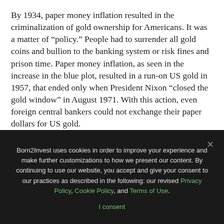By 1934, paper money inflation resulted in the criminalization of gold ownership for Americans. It was a matter of “policy.” People had to surrender all gold coins and bullion to the banking system or risk fines and prison time. Paper money inflation, as seen in the increase in the blue plot, resulted in a run-on US gold in 1957, that ended only when President Nixon “closed the gold window” in August 1971. With this action, even foreign central bankers could not exchange their paper dollars for US gold.
Freed from any link to reality, the old Bretton Woods $35 gold peg, our “monetary-policy makers” were free to “inject liquidity” into the financial system to the extremes seen
Born2Invest uses cookies in order to improve your experience and make further customizations to how we present our content. By continuing to use our website, you accept and give your consent to our practices as described in the following: our revised Privacy Policy, Cookie Policy, and Terms of Use.
I consent